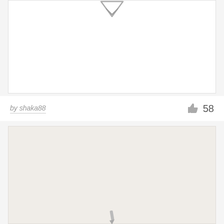[Figure (illustration): White card panel with a diamond/chevron down-arrow icon at the top center]
by shaka88
[Figure (illustration): Thumbs up like icon in gray]
58
[Figure (illustration): Light beige/cream card panel with a pencil/edit icon partially visible at the bottom center]